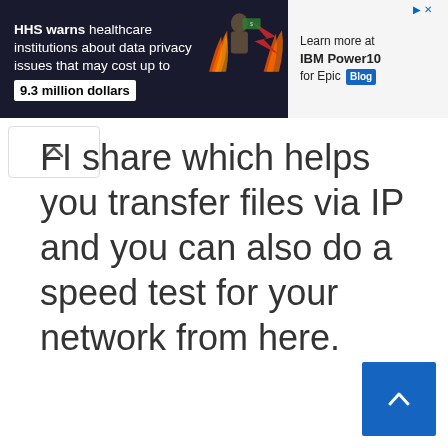[Figure (other): Advertisement banner: dark background with text 'HHS warns healthcare institutions about data privacy issues that may cost up to 9.3 million dollars', a man with fire/money graphic in center, and right side light background with 'Learn more at IBM Power10 for Epic Blog']
FI share which helps you transfer files via IP and you can also do a speed test for your network from here.